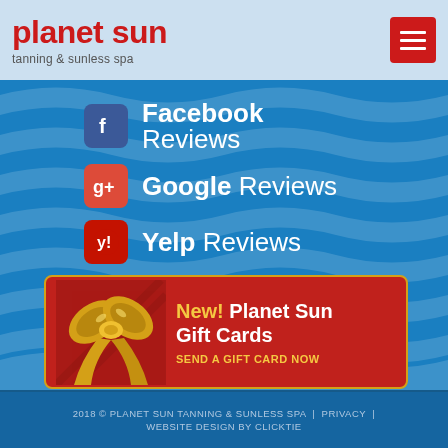planet sun tanning & sunless spa
Facebook Reviews
Google Reviews
Yelp Reviews
[Figure (infographic): Gift card promotional banner with gold ribbon bow image and text: New! Planet Sun Gift Cards - SEND A GIFT CARD NOW]
2018 © PLANET SUN TANNING & SUNLESS SPA   |   PRIVACY   |   WEBSITE DESIGN BY CLICKTIE